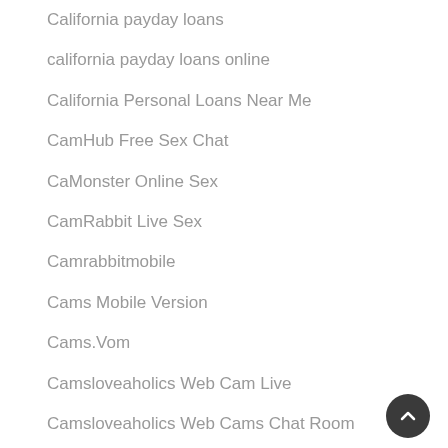California payday loans
california payday loans online
California Personal Loans Near Me
CamHub Free Sex Chat
CaMonster Online Sex
CamRabbit Live Sex
Camrabbitmobile
Cams Mobile Version
Cams.Vom
Camsloveaholics Web Cam Live
Camsloveaholics Web Cams Chat Room
Camsloveaholics Web Cams Chat Rooms